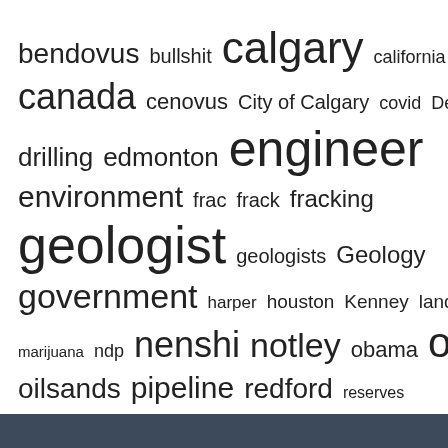[Figure (other): Word cloud containing terms related to Calgary, oil and gas industry, and Alberta politics. Words vary in size indicating frequency/importance. Largest words: calgary, engineer, geologist, oil. Includes: bendovus, bullshit, calgary, california, canada, cenovus, City of Calgary, covid, Dear Andy, drilling, edmonton, engineer, environment, frac, frack, fracking, geologist, geologists, Geology, government, harper, houston, Kenney, landman, marijuana, ndp, nenshi, notley, obama, oil, oilsands, pipeline, redford, reserves, reservoir engineer, saskatchewan, stampede, Texas, Trudeau]